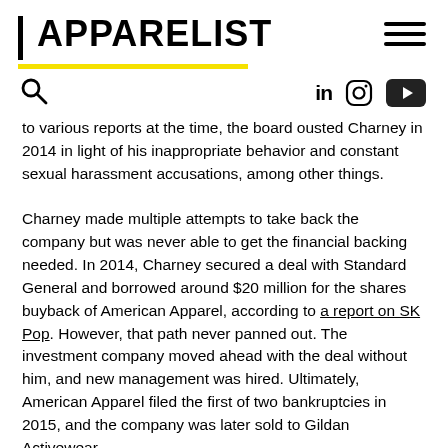APPARELIST
to various reports at the time, the board ousted Charney in 2014 in light of his inappropriate behavior and constant sexual harassment accusations, among other things.
Charney made multiple attempts to take back the company but was never able to get the financial backing needed. In 2014, Charney secured a deal with Standard General and borrowed around $20 million for the shares buyback of American Apparel, according to a report on SK Pop. However, that path never panned out. The investment company moved ahead with the deal without him, and new management was hired. Ultimately, American Apparel filed the first of two bankruptcies in 2015, and the company was later sold to Gildan Activewear.